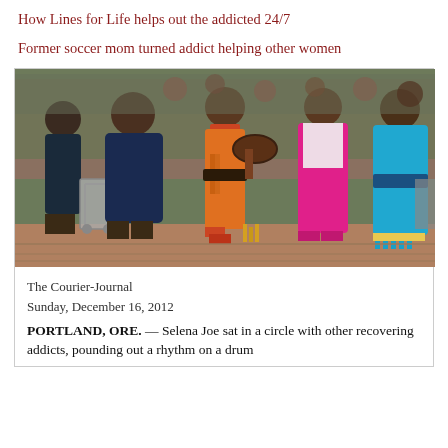How Lines for Life helps out the addicted 24/7
Former soccer mom turned addict helping other women
[Figure (photo): Native American women in colorful traditional regalia (orange, pink, cyan/blue dresses) performing or standing at what appears to be a powwow or cultural event outdoors on a brick plaza, with spectators in the background.]
The Courier-Journal
Sunday, December 16, 2012
PORTLAND, ORE. — Selena Joe sat in a circle with other recovering addicts, pounding out a rhythm on a drum